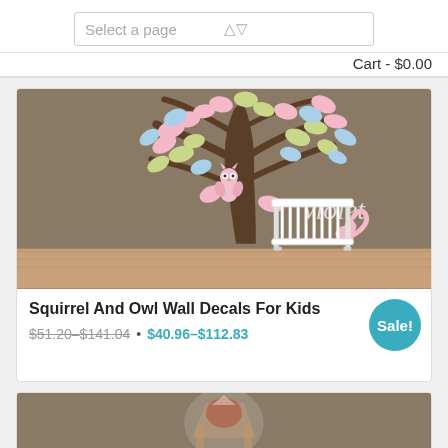Select a page
Cart - $0.00
[Figure (photo): Wall decal photo showing a pastel-colored tree with pink, blue, and green leaves on a taupe wall with a white crib, an owl on a branch, text 'Violet', and a pink squirrel]
Squirrel And Owl Wall Decals For Kids
Sale!
$51.20–$141.04 • $40.96–$112.83